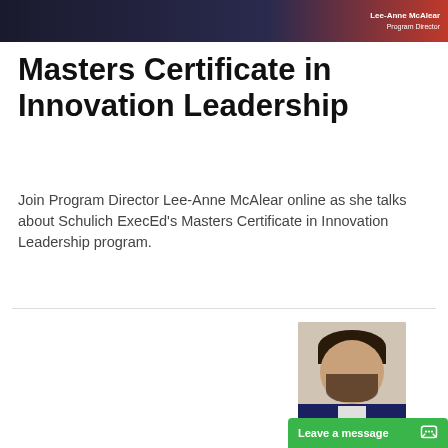[Figure (photo): Top banner showing a woman identified as Program Director, with dark blue and red background]
Masters Certificate in Innovation Leadership
Join Program Director Lee-Anne McAlear online as she talks about Schulich ExecEd's Masters Certificate in Innovation Leadership program.
[Figure (infographic): Dark blue promotional card for an Information Webinar about Masters Certificate in Analytics for Leaders. Includes URL seec.schulich.yorku.ca and Schulich Executive Education Centre logo. Beside it is a portrait photo of a man in a suit.]
Leave a message